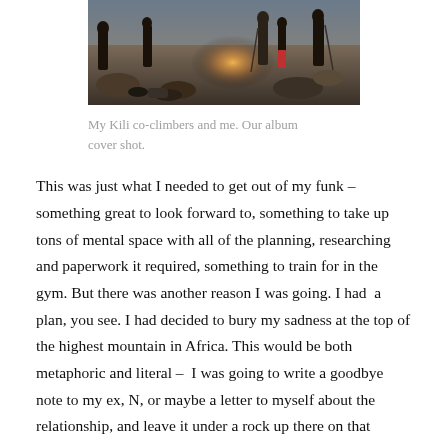[Figure (photo): A group of hikers/climbers on rocky mountain terrain with bright sunlight, silhouetted figures in the background against a stony landscape.]
My Kili co-climbers and me. Our album cover shot.
This was just what I needed to get out of my funk – something great to look forward to, something to take up tons of mental space with all of the planning, researching and paperwork it required, something to train for in the gym. But there was another reason I was going. I had  a plan, you see. I had decided to bury my sadness at the top of the highest mountain in Africa. This would be both metaphoric and literal –  I was going to write a goodbye note to my ex, N, or maybe a letter to myself about the relationship, and leave it under a rock up there on that